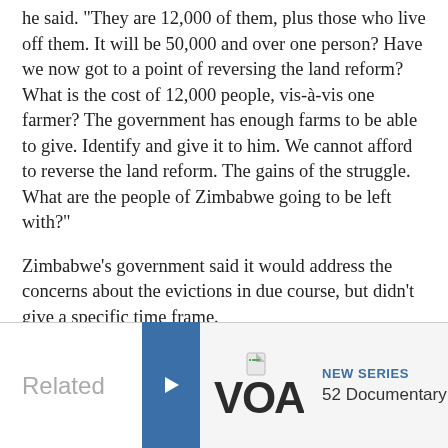he said. "They are 12,000 of them, plus those who live off them. It will be 50,000 and over one person? Have we now got to a point of reversing the land reform? What is the cost of 12,000 people, vis-à-vis one farmer? The government has enough farms to be able to give. Identify and give it to him. We cannot afford to reverse the land reform. The gains of the struggle. What are the people of Zimbabwe going to be left with?"
Zimbabwe's government said it would address the concerns about the evictions in due course, but didn't give a specific time frame.
Related
[Figure (logo): VOA logo with arrow navigation button and 'NEW SERIES - 52 Documentary' related content panel]